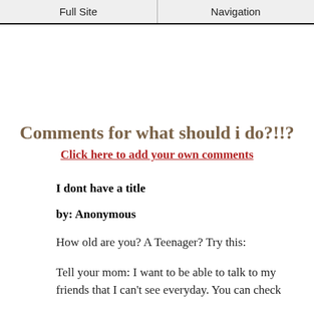Full Site | Navigation
Comments for what should i do?!!?
Click here to add your own comments
I dont have a title
by: Anonymous
How old are you? A Teenager? Try this:
Tell your mom: I want to be able to talk to my friends that I can't see everyday. You can check